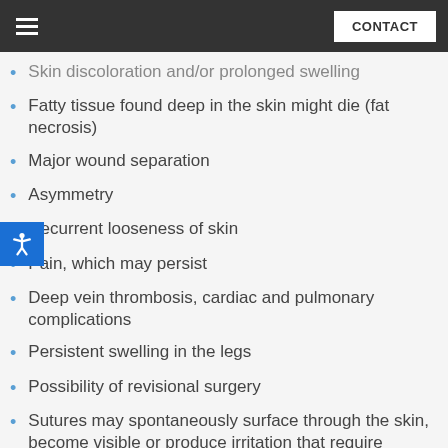CONTACT
Skin discoloration and/or prolonged swelling
Fatty tissue found deep in the skin might die (fat necrosis)
Major wound separation
Asymmetry
Recurrent looseness of skin
Pain, which may persist
Deep vein thrombosis, cardiac and pulmonary complications
Persistent swelling in the legs
Possibility of revisional surgery
Sutures may spontaneously surface through the skin, become visible or produce irritation that require removal